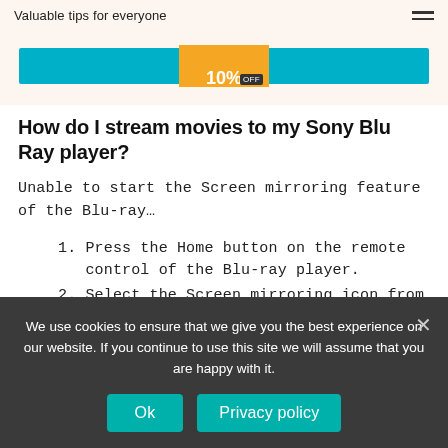Valuable tips for everyone
[Figure (screenshot): Banner with teal/cyan bars on left and right and an orange badge in center showing '10%' with 'OFF' tag]
How do I stream movies to my Sony Blu Ray player?
Unable to start the Screen mirroring feature of the Blu-ray…
Press the Home button on the remote control of the Blu-ray player.
Select the Screen mirroring icon from My Apps.
Turn on the Screen mirroring function of your
We use cookies to ensure that we give you the best experience on our website. If you continue to use this site we will assume that you are happy with it.